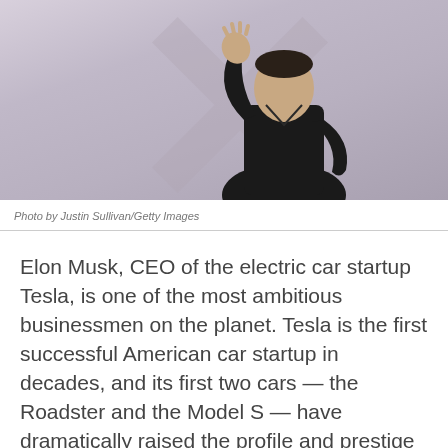[Figure (photo): Elon Musk waving in front of a large X logo backdrop, wearing a black outfit]
Photo by Justin Sullivan/Getty Images
Elon Musk, CEO of the electric car startup Tesla, is one of the most ambitious businessmen on the planet. Tesla is the first successful American car startup in decades, and its first two cars — the Roadster and the Model S — have dramatically raised the profile and prestige of electric vehicles.